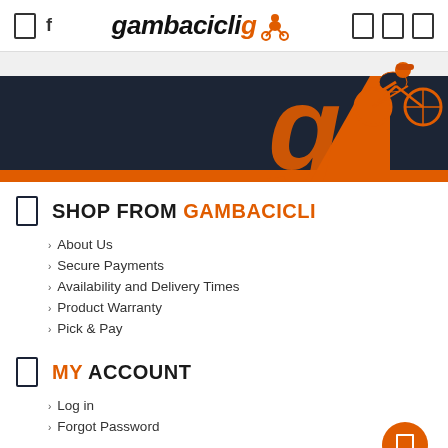gambacicli
[Figure (illustration): Gambacicli banner with dark navy background and large orange stylized 'g' letter with cyclist silhouette logo]
SHOP FROM GAMBACICLI
About Us
Secure Payments
Availability and Delivery Times
Product Warranty
Pick & Pay
MY ACCOUNT
Log in
Forgot Password